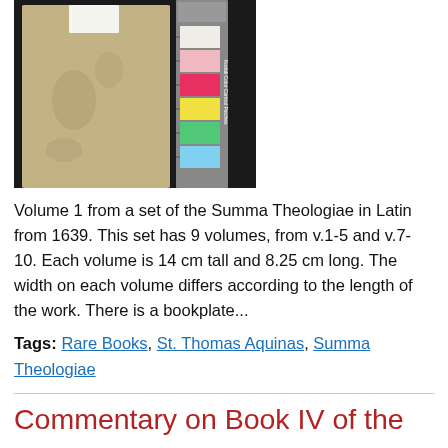[Figure (photo): Photograph of a small tan/beige book spine (Volume 1) lying next to a color calibration ruler/scale. The book appears old and worn. The color scale shows white, pink/red, yellow, green, and blue swatches.]
Volume 1 from a set of the Summa Theologiae in Latin from 1639. This set has 9 volumes, from v.1-5 and v.7-10. Each volume is 14 cm tall and 8.25 cm long. The width on each volume differs according to the length of the work. There is a bookplate...
Tags: Rare Books, St. Thomas Aquinas, Summa Theologiae
Commentary on Book IV of the